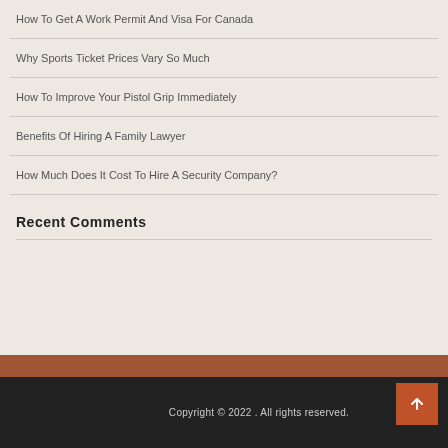How To Get A Work Permit And Visa For Canada
Why Sports Ticket Prices Vary So Much
How To Improve Your Pistol Grip Immediately
Benefits Of Hiring A Family Lawyer
How Much Does It Cost To Hire A Security Company?
Recent Comments
Copyright © 2022 . All rights reserved.